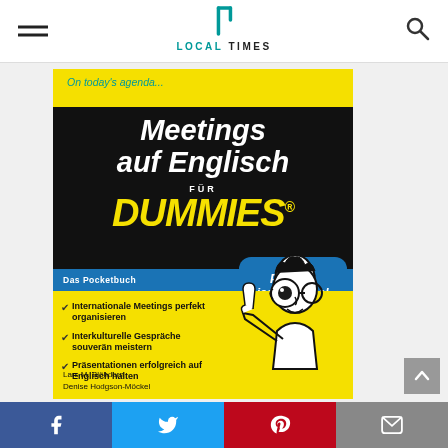LOCAL TIMES
[Figure (illustration): Book cover of 'Meetings auf Englisch für Dummies - Das Pocketbuch' by Lars M. Blöhdorn and Denise Hodgson-Möckel. Yellow cover with black band showing title, yellow DUMMIES text, blue band labeled 'Das Pocketbuch', speech bubble 'Passt in jede Tasche!', bullet list of three features, and cartoon dummies character.]
Facebook | Twitter | Pinterest | Email